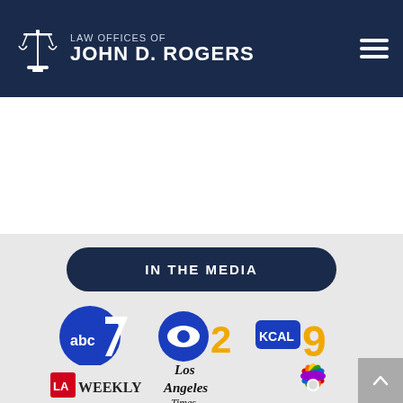[Figure (logo): Law Offices of John D. Rogers — logo with scales of justice icon and text in white on dark navy header bar]
IN THE MEDIA
[Figure (logo): Media logos: ABC7, CBS2, KCAL9, LA Weekly, Los Angeles Times, NBC]
[Figure (illustration): Back to top arrow button, gray square, bottom right corner]